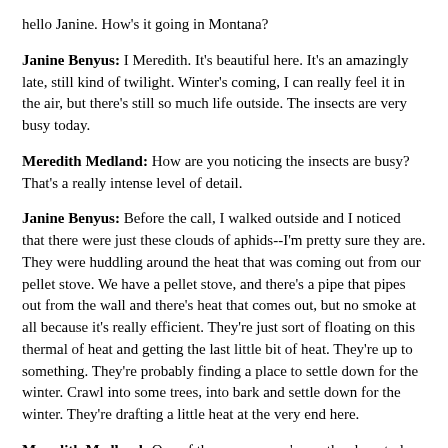hello Janine. How's it going in Montana?
Janine Benyus: I Meredith. It's beautiful here. It's an amazingly late, still kind of twilight. Winter's coming, I can really feel it in the air, but there's still so much life outside. The insects are very busy today.
Meredith Medland: How are you noticing the insects are busy? That's a really intense level of detail.
Janine Benyus: Before the call, I walked outside and I noticed that there were just these clouds of aphids--I'm pretty sure they are. They were huddling around the heat that was coming out from our pellet stove. We have a pellet stove, and there's a pipe that pipes out from the wall and there's heat that comes out, but no smoke at all because it's really efficient. They're just sort of floating on this thermal of heat and getting the last little bit of heat. They're up to something. They're probably finding a place to settle down for the winter. Crawl into some trees, into bark and settle down for the winter. They're drafting a little heat at the very end here.
Meredith Medland: One of the reasons you're on the show today is that I was at the Digital Be-In in San Francisco interviewing Larry Harvey, the founder of Burning Man, I believe that was episode 9, and Michael Gosney who created that event, in our